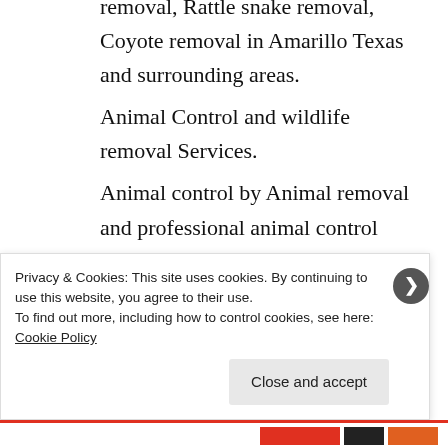removal, Rattle snake removal, Coyote removal in Amarillo Texas and surrounding areas. Animal Control and wildlife removal Services. Animal control by Animal removal and professional animal control techniques can be very much diffident than the humane society.
Animal control by the wildlife...
Privacy & Cookies: This site uses cookies. By continuing to use this website, you agree to their use. To find out more, including how to control cookies, see here: Cookie Policy